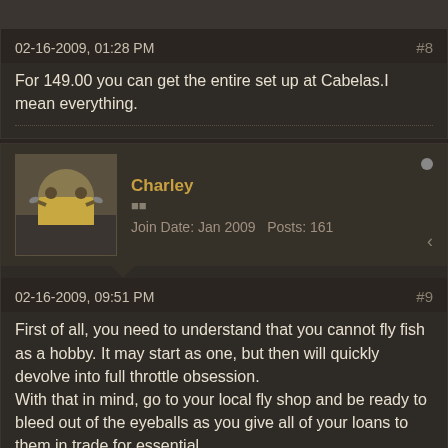02-16-2009, 01:28 PM
#8
For 149.00 you can get the entire set up at Cabelas.I mean everything.
Charley
Join Date: Jan 2009   Posts: 161
02-16-2009, 09:51 PM
#9
First of all, you need to understand that you cannot fly fish as a hobby. It may start as one, but then will quickly devolve into full throttle obsession.
With that in mind, go to your local fly shop and be ready to bleed out of the eyeballs as you give all of your loans to them in trade for essential